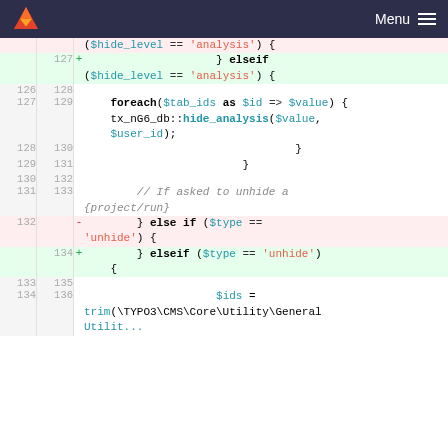Menu
[Figure (screenshot): Code diff view showing PHP code changes. Lines 126-136 with removed and added lines highlighted in red/green. Shows foreach loop, hide_analysis function call, elseif blocks for 'unhide' type, and trim call with TYPO3 path.]